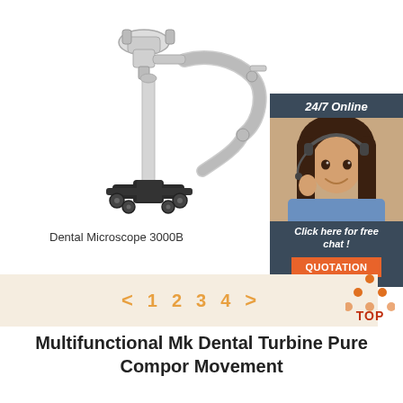[Figure (photo): Dental Microscope 3000B on wheeled stand with articulating arm]
Dental Microscope 3000B
[Figure (infographic): 24/7 Online chat support box with woman wearing headset, 'Click here for free chat!' text, and orange QUOTATION button]
[Figure (other): Pagination navigation bar with < 1 2 3 4 > on tan background, and TOP icon with orange triangle dots and red TOP text]
Multifunctional Mk Dental Turbine Pure Compor Movement